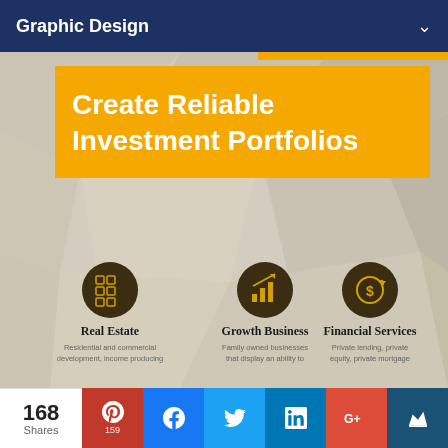Graphic Design
Create Reliable Investment Portfolios
[Figure (infographic): Three investment service icons with labels on a geometric light background. Icons: Real Estate (building/grid icon), Growth Business (bar chart with arrow icon), Financial Services (dollar coin icon). All icons are gold on dark olive circular backgrounds.]
Real Estate
Residential and commercial development, income producing
Growth Business
Family owned businesses that display an ability to
Financial Services
Private lending, private equity, private mortgage
168 Shares  159